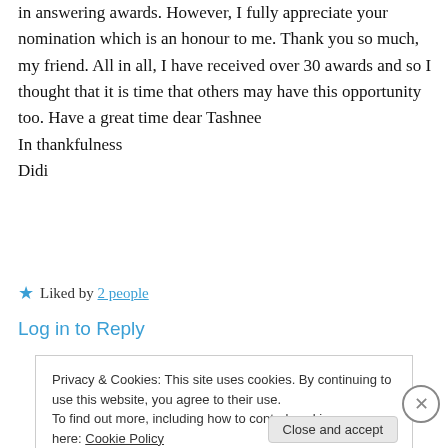in answering awards. However, I fully appreciate your nomination which is an honour to me. Thank you so much, my friend. All in all, I have received over 30 awards and so I thought that it is time that others may have this opportunity too. Have a great time dear Tashnee
In thankfulness
Didi
★ Liked by 2 people
Log in to Reply
Privacy & Cookies: This site uses cookies. By continuing to use this website, you agree to their use.
To find out more, including how to control cookies, see here: Cookie Policy